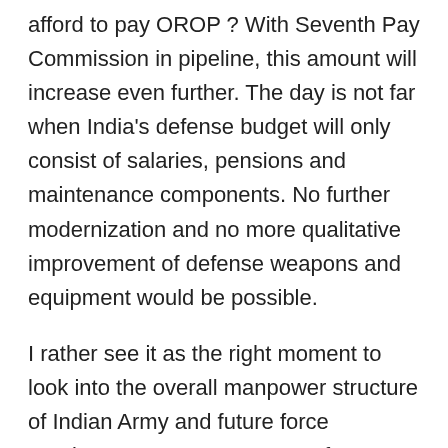afford to pay OROP ? With Seventh Pay Commission in pipeline, this amount will increase even further. The day is not far when India's defense budget will only consist of salaries, pensions and maintenance components. No further modernization and no more qualitative improvement of defense weapons and equipment would be possible.
I rather see it as the right moment to look into the overall manpower structure of Indian Army and future force requirements. Some amount of demobilization, lateral transfers and better approach in light of best global practices won't hurt. The fact is – Indian Army is the only army in the world which is expanding, whereas globally, armies are decreasing their manpower and